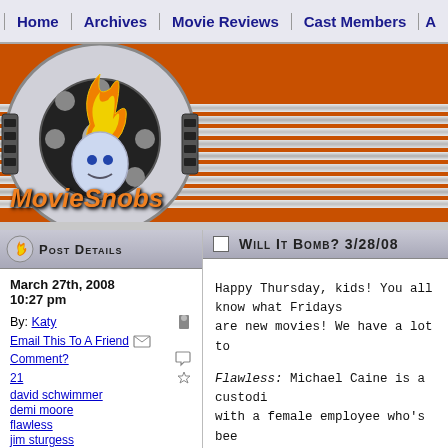Home | Archives | Movie Reviews | Cast Members | A
[Figure (logo): MovieSnobs logo with film reel and flame demon character, orange banner background with silver horizontal stripes]
Post Details
March 27th, 2008
10:27 pm
By: Katy
Email This To A Friend
Comment?
21
david schwimmer
demi moore
flawless
jim sturgess
Will It Bomb? 3/28/08
Happy Thursday, kids! You all know what Fridays are new movies! We have a lot to

Flawless: Michael Caine is a custodi with a female employee who's bee gender. And to answer what I assu two people everyone least suspe female lead a surprise to any of w